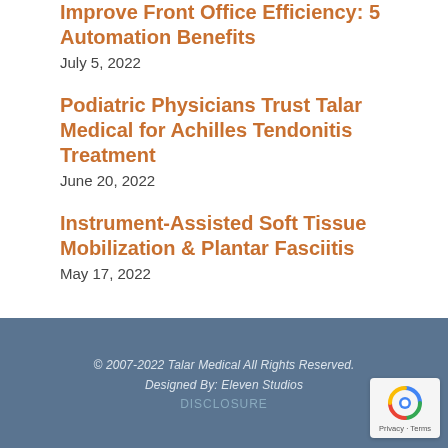Improve Front Office Efficiency: 5 Automation Benefits
July 5, 2022
Podiatric Physicians Trust Talar Medical for Achilles Tendonitis Treatment
June 20, 2022
Instrument-Assisted Soft Tissue Mobilization & Plantar Fasciitis
May 17, 2022
© 2007-2022 Talar Medical  All Rights Reserved.
Designed By:  Eleven Studios
DISCLOSURE